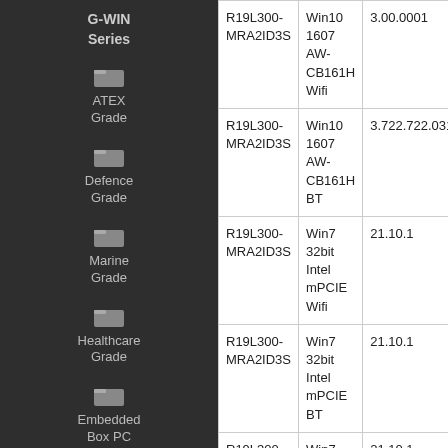G-WIN Series
ATEX Grade
Defence Grade
Marine Grade
Healthcare Grade
Embedded Box PC
|  |  |  | D |
| --- | --- | --- | --- |
| R19L300-MRA2ID3S | Win10 1607 AW-CB161H Wifi | 3.00.0001 | D |
| R19L300-MRA2ID3S | Win10 1607 AW-CB161H BT | 3.722.722.031813 | D |
| R19L300-MRA2ID3S | Win7 32bit Intel mPCIE Wifi | 21.10.1 | D |
| R19L300-MRA2ID3S | Win7 32bit Intel mPCIE BT | 21.10.1 | D |
| R19L300-MRA2ID3S | Win7 64bit Intel mPCIE BT | 21.10.1 | D |
| R19L300-MRA2ID3S | Win8 64bit Intel mPCIE Wifi | 21.10.1 | D |
| R19L300-MRA2ID3S | Win10 32bit... | 21.10.1 | D |